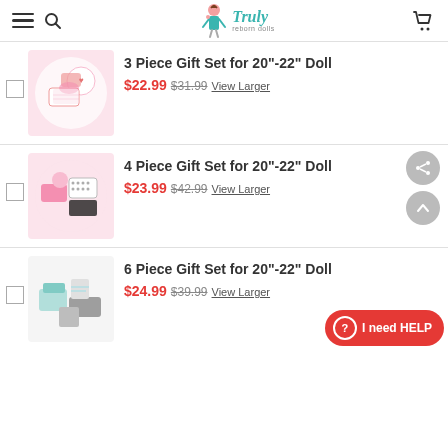Truly reborn dolls
[Figure (photo): 3 Piece Gift Set doll clothing on pink background]
3 Piece Gift Set for 20"-22" Doll
$22.99 $31.99 View Larger
[Figure (photo): 4 Piece Gift Set doll clothing pink and black pattern]
4 Piece Gift Set for 20"-22" Doll
$23.99 $42.99 View Larger
[Figure (photo): 6 Piece Gift Set doll clothing grey and blue]
6 Piece Gift Set for 20"-22" Doll
$24.99 $39.99 View Larger